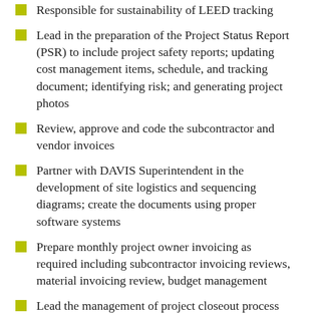Responsible for sustainability of LEED tracking
Lead in the preparation of the Project Status Report (PSR) to include project safety reports; updating cost management items, schedule, and tracking document; identifying risk; and generating project photos
Review, approve and code the subcontractor and vendor invoices
Partner with DAVIS Superintendent in the development of site logistics and sequencing diagrams; create the documents using proper software systems
Prepare monthly project owner invoicing as required including subcontractor invoicing reviews, material invoicing review, budget management
Lead the management of project closeout process with preparing and completing the job close out